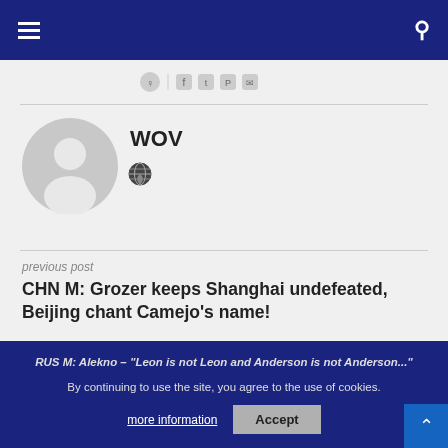WOV site header with hamburger menu and search icon
[Figure (illustration): Social share icon bar with small icons]
[Figure (illustration): Default user avatar circle (grey silhouette)]
WOV
[Figure (illustration): Globe/world icon]
previous post
CHN M: Grozer keeps Shanghai undefeated, Beijing chant Camejo's name!
next post
RUS M: Alekno – "Leon is not Leon and Anderson is not Anderson..."
By continuing to use the site, you agree to the use of cookies.
more information
Accept